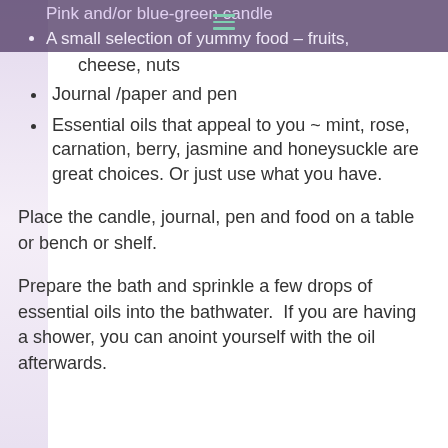Pink and/or blue-green candle
A small selection of yummy food – fruits, cheese, nuts
Journal /paper and pen
Essential oils that appeal to you ~ mint, rose, carnation, berry, jasmine and honeysuckle are great choices. Or just use what you have.
Place the candle, journal, pen and food on a table or bench or shelf.
Prepare the bath and sprinkle a few drops of essential oils into the bathwater.  If you are having a shower, you can anoint yourself with the oil afterwards.